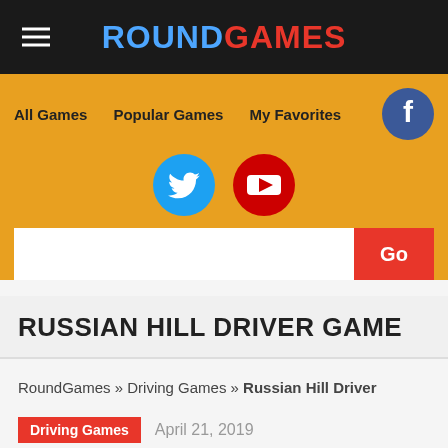ROUNDGAMES
All Games   Popular Games   My Favorites
RUSSIAN HILL DRIVER GAME
RoundGames » Driving Games » Russian Hill Driver
Driving Games   April 21, 2019